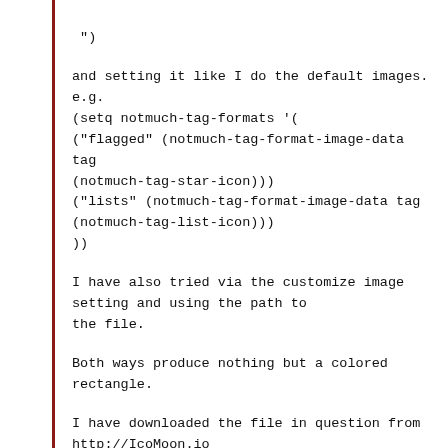")
and setting it like I do the default images.
e.g.
(setq notmuch-tag-formats '(
("flagged" (notmuch-tag-format-image-data tag
(notmuch-tag-star-icon))
("lists" (notmuch-tag-format-image-data tag
(notmuch-tag-list-icon)))
))
I have also tried via the customize image
setting and using the path to
the file.
Both ways produce nothing but a colored
rectangle.
I have downloaded the file in question from
http://IcoMoon.io